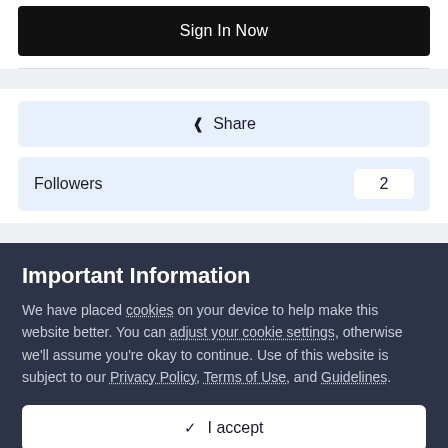Sign In Now
Share
Followers 2
Important Information
We have placed cookies on your device to help make this website better. You can adjust your cookie settings, otherwise we'll assume you're okay to continue. Use of this website is subject to our Privacy Policy, Terms of Use, and Guidelines.
✓ I accept